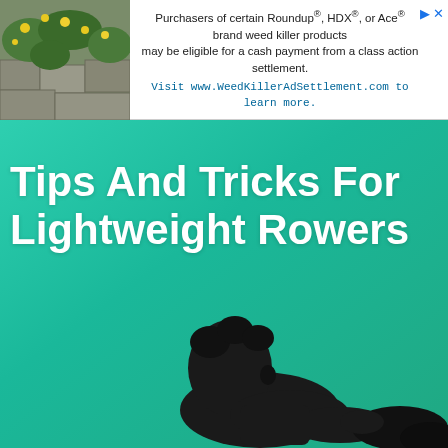[Figure (photo): Ad banner at top: left side shows photo of yellow flowers and green foliage on stone. Right side shows text about Roundup/HDX/Ace brand weed killer class action settlement.]
Purchasers of certain Roundup®, HDX®, or Ace® brand weed killer products may be eligible for a cash payment from a class action settlement. Visit www.WeedKillerAdSettlement.com to learn more.
[Figure (illustration): Main article thumbnail image: teal/green gradient background with white bold text 'Tips And Tricks For Lightweight Rowers' and a dark silhouette of a person rowing (side profile) in the lower portion.]
Tips And Tricks For Lightweight Rowers